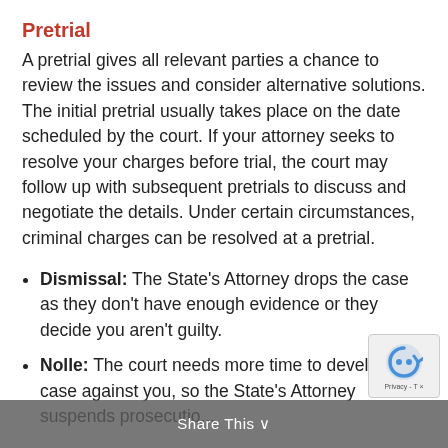Pretrial
A pretrial gives all relevant parties a chance to review the issues and consider alternative solutions. The initial pretrial usually takes place on the date scheduled by the court. If your attorney seeks to resolve your charges before trial, the court may follow up with subsequent pretrials to discuss and negotiate the details. Under certain circumstances, criminal charges can be resolved at a pretrial.
Dismissal: The State's Attorney drops the case as they don't have enough evidence or they decide you aren't guilty.
Nolle: The court needs more time to develop the case against you, so the State's Attorney suspends prosecutio...